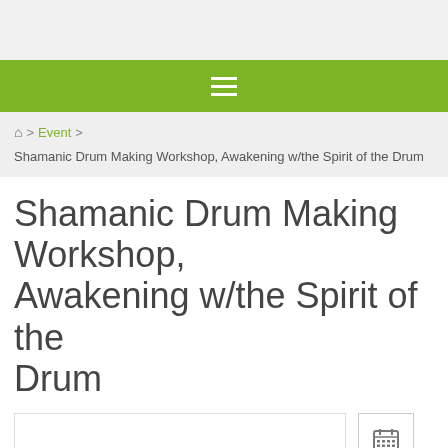≡ (hamburger menu navigation bar)
🏠 > Event > Shamanic Drum Making Workshop, Awakening w/the Spirit of the Drum
Shamanic Drum Making Workshop, Awakening w/the Spirit of the Drum
[Figure (other): Event image placeholder box (white rectangle with border)]
[Figure (other): Calendar/add-to-calendar button icon]